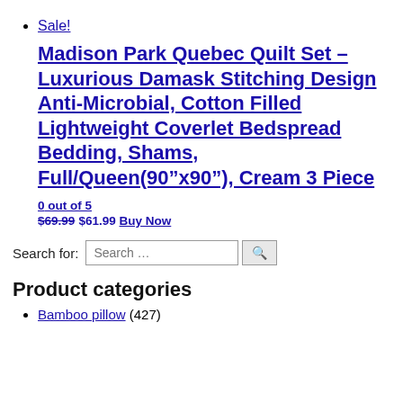Sale!
Madison Park Quebec Quilt Set – Luxurious Damask Stitching Design Anti-Microbial, Cotton Filled Lightweight Coverlet Bedspread Bedding, Shams, Full/Queen(90″x90″), Cream 3 Piece
0 out of 5
$69.99 $61.99 Buy Now
Search for:
Product categories
Bamboo pillow (427)